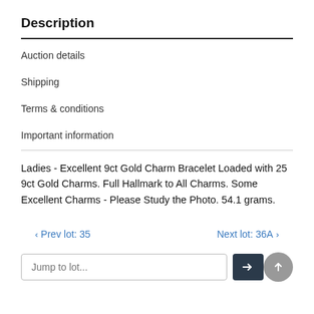Description
Auction details
Shipping
Terms & conditions
Important information
Ladies - Excellent 9ct Gold Charm Bracelet Loaded with 25 9ct Gold Charms. Full Hallmark to All Charms. Some Excellent Charms - Please Study the Photo. 54.1 grams.
‹ Prev lot: 35   Next lot: 36A ›
Jump to lot...